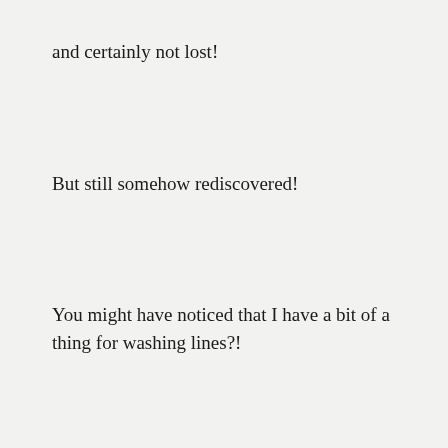and certainly not lost!
But still somehow rediscovered!
You might have noticed that I have a bit of a thing for washing lines?!
So many laundry line photos that I can't possibly remember them all!